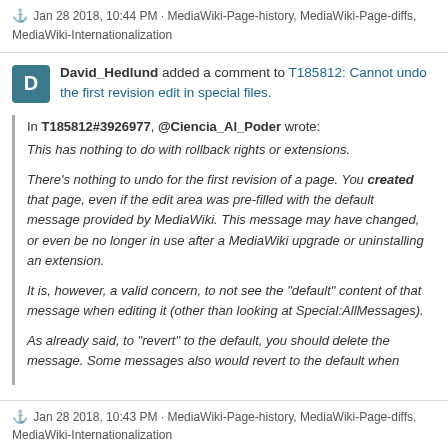⚓ Jan 28 2018, 10:44 PM · MediaWiki-Page-history, MediaWiki-Page-diffs, MediaWiki-Internationalization
David_Hedlund added a comment to T185812: Cannot undo the first revision edit in special files.
In T185812#3926977, @Ciencia_Al_Poder wrote:
This has nothing to do with rollback rights or extensions.

There's nothing to undo for the first revision of a page. You created that page, even if the edit area was pre-filled with the default message provided by MediaWiki. This message may have changed, or even be no longer in use after a MediaWiki upgrade or uninstalling an extension.

It is, however, a valid concern, to not see the "default" content of that message when editing it (other than looking at Special:AllMessages).

As already said, to "revert" to the default, you should delete the message. Some messages also would revert to the default when
⚓ Jan 28 2018, 10:43 PM · MediaWiki-Page-history, MediaWiki-Page-diffs, MediaWiki-Internationalization